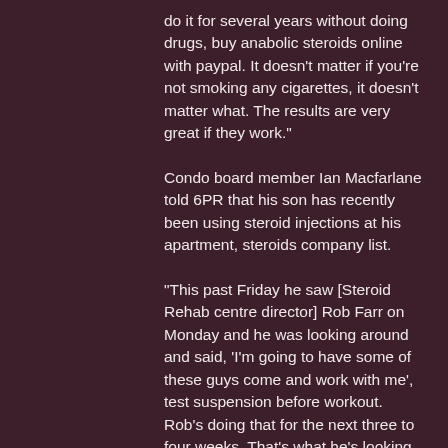do it for several years without doing drugs, buy anabolic steroids online with paypal. It doesn't matter if you're not smoking any cigarettes, it doesn't matter what. The results are very great if they work."
Condo board member Ian Macfarlane told 6PR that his son has recently been using steroid injections at his apartment, steroids company list.
"This past Friday he saw [Steroid Rehab centre director] Rob Farr on Monday and he was looking around and said, 'I'm going to have some of these guys come and work with me', test suspension before workout. Rob's doing that for the next three to four weeks. That's what he's looking at, you know, getting a good base and getting healthy.
"It was...